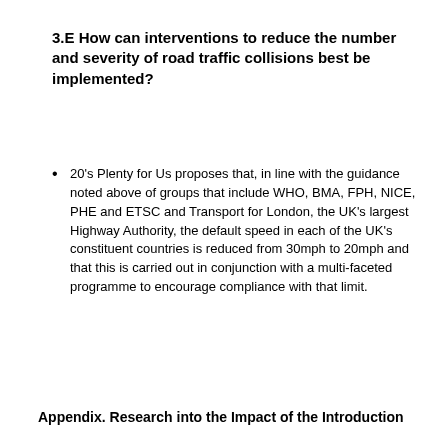3.E How can interventions to reduce the number and severity of road traffic collisions best be implemented?
20's Plenty for Us proposes that, in line with the guidance noted above of groups that include WHO, BMA, FPH, NICE, PHE and ETSC and Transport for London, the UK's largest Highway Authority, the default speed in each of the UK's constituent countries is reduced from 30mph to 20mph and that this is carried out in conjunction with a multi-faceted programme to encourage compliance with that limit.
Appendix. Research into the Impact of the Introduction of 20mph Limits